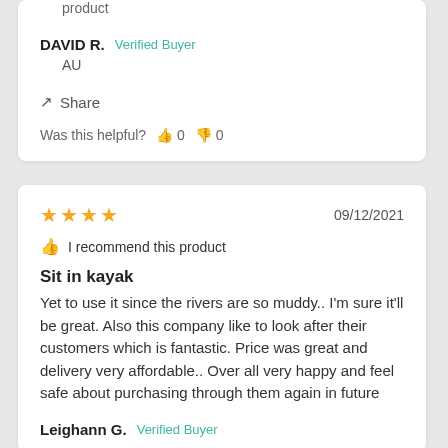product
DAVID R.  Verified Buyer
AU
Share
Was this helpful?  0  0
★★★★  09/12/2021
I recommend this product
Sit in kayak
Yet to use it since the rivers are so muddy.. I'm sure it'll be great. Also this company like to look after their customers which is fantastic. Price was great and delivery very affordable.. Over all very happy and feel safe about purchasing through them again in future
Leighann G.  Verified Buyer